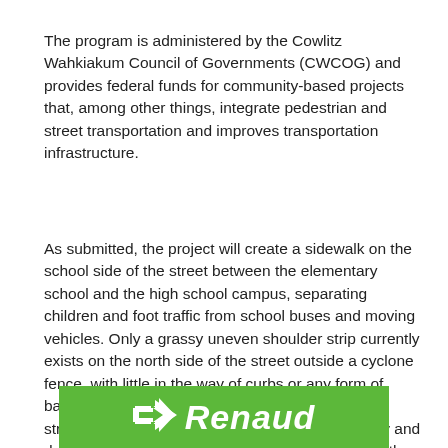The program is administered by the Cowlitz Wahkiakum Council of Governments (CWCOG) and provides federal funds for community-based projects that, among other things, integrate pedestrian and street transportation and improves transportation infrastructure.
As submitted, the project will create a sidewalk on the school side of the street between the elementary school and the high school campus, separating children and foot traffic from school buses and moving vehicles. Only a grassy uneven shoulder strip currently exists on the north side of the street outside a cyclone fence, with little in the way of curbs or any form of barrier or protection between pedestrians and the street. The existing shoulder strip becomes muddy and dangerous to students during the rainy winter months.
[Figure (logo): Green banner with USPS arrow logo on the left and 'Renaud' text in white bold italic on the right]